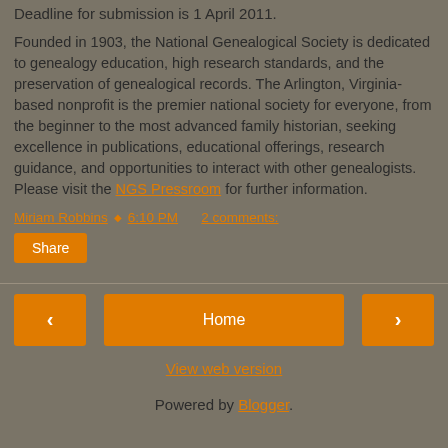Deadline for submission is 1 April 2011.
Founded in 1903, the National Genealogical Society is dedicated to genealogy education, high research standards, and the preservation of genealogical records. The Arlington, Virginia-based nonprofit is the premier national society for everyone, from the beginner to the most advanced family historian, seeking excellence in publications, educational offerings, research guidance, and opportunities to interact with other genealogists. Please visit the NGS Pressroom for further information.
Miriam Robbins · 6:10 PM   2 comments:
Share
Home
View web version
Powered by Blogger.